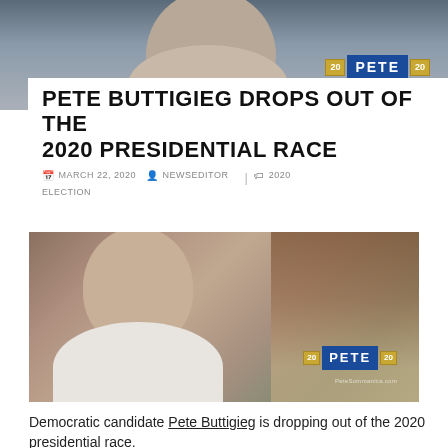[Figure (photo): Photo of Pete Buttigieg at top of page with 'PETE 20' campaign logo overlay]
PETE BUTTIGIEG DROPS OUT OF THE 2020 PRESIDENTIAL RACE
MARCH 22, 2020  NEWSEDITOR  |  2020 ELECTION
[Figure (photo): Photo of Pete Buttigieg speaking, with 'PETE 20' campaign logo and PeteSommanica.com watermark]
Democratic candidate Pete Buttigieg is dropping out of the 2020 presidential race.